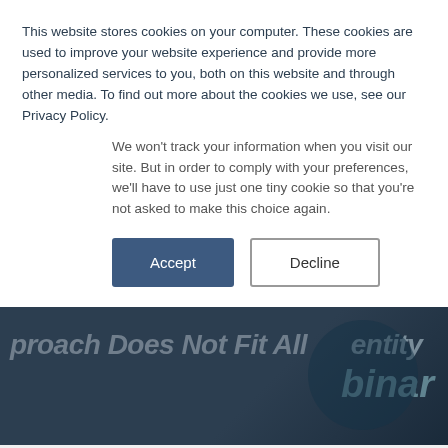This website stores cookies on your computer. These cookies are used to improve your website experience and provide more personalized services to you, both on this website and through other media. To find out more about the cookies we use, see our Privacy Policy.
We won't track your information when you visit our site. But in order to comply with your preferences, we'll have to use just one tiny cookie so that you're not asked to make this choice again.
[Figure (screenshot): Dark banner with partially visible italic text: 'proach Does Not Fit All' on left and 'entity' on right, 'binar' below right, overlaid on a dark navy gradient background with a circular dark shape]
In July 2020 our CEO, Greg Woolf, had the opportunity to